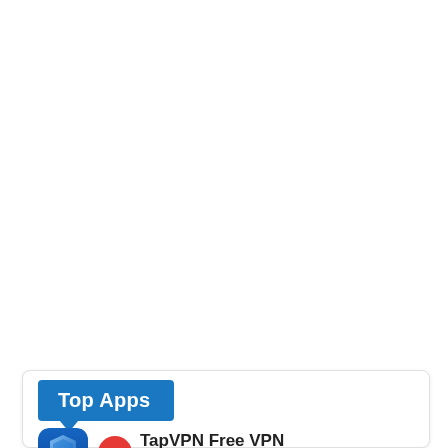Top Apps
TapVPN Free VPN
HOT
Communication